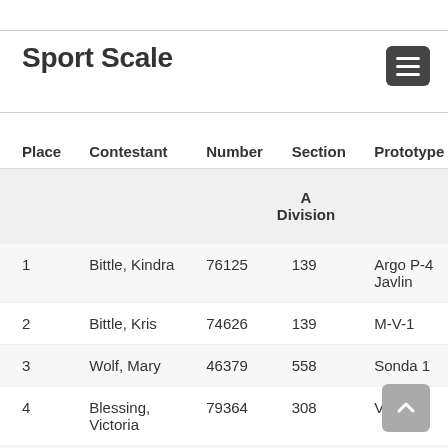Sport Scale
| Place | Contestant | Number | Section | Prototype | Static | Flight 1 |
| --- | --- | --- | --- | --- | --- | --- |
| A Division |  |  |  |  |  |  |
| 1 | Bittle, Kindra | 76125 | 139 | Argo P-4 Javlin | 690.0 | 100.0 |
| 2 | Bittle, Kris | 74626 | 139 | M-V-1 | 670.0 | 103.0 |
| 3 | Wolf, Mary | 46379 | 558 | Sonda 1 | 665.0 | 100.0 |
| 4 | Blessing, Victoria | 79364 | 308 | V-2 | 675.0 | 85.0 |
| 5 | Rangitsch, Andrew | 76674 | 596 | White Sands V2 #2 |  | 100.0 |